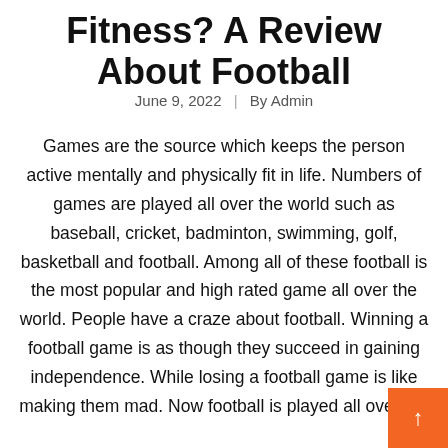Fitness? A Review About Football
June 9, 2022  |  By Admin
Games are the source which keeps the person active mentally and physically fit in life. Numbers of games are played all over the world such as baseball, cricket, badminton, swimming, golf, basketball and football. Among all of these football is the most popular and high rated game all over the world. People have a craze about football. Winning a football game is as though they succeed in gaining independence. While losing a football game is like making them mad. Now football is played all over the